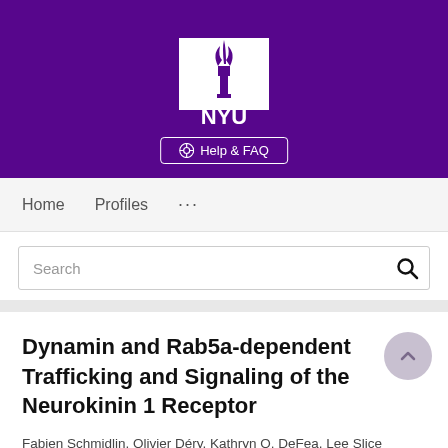[Figure (logo): NYU (New York University) logo on purple background with torch icon and NYU text in white]
Help & FAQ
Home   Profiles   ...
Search
Dynamin and Rab5a-dependent Trafficking and Signaling of the Neurokinin 1 Receptor
Fabien Schmidlin, Olivier Déry, Kathryn O. DeFea, Lee Slice